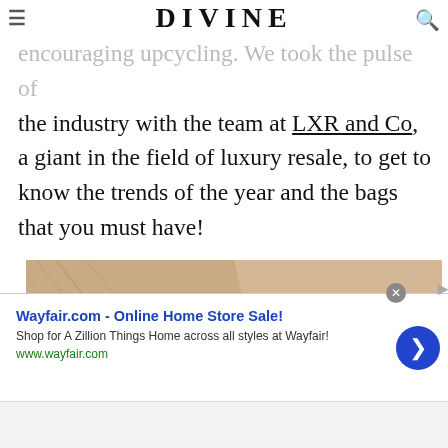DIVINE
encouraging upcycling. We took the pulse of the industry with the team at LXR and Co, a giant in the field of luxury resale, to get to know the trends of the year and the bags that you must have!
[Figure (photo): Fashion photo: young woman with short dark hair wearing an orange blazer, photographed against a warm beige geometric background]
Wayfair.com - Online Home Store Sale! Shop for A Zillion Things Home across all styles at Wayfair! www.wayfair.com